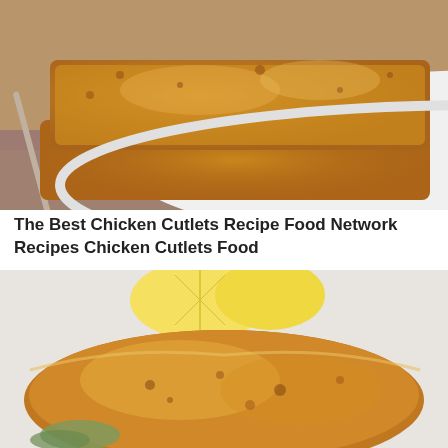[Figure (photo): Close-up photo of golden-brown breaded chicken cutlets stacked on a white oval plate, with a mauve/dusty rose cloth napkin underneath, fork visible on the left side.]
The Best Chicken Cutlets Recipe Food Network Recipes Chicken Cutlets Food
[Figure (photo): Close-up photo of golden-brown breaded chicken cutlets on a white plate, with lemon wedges visible in the background and herbs garnish.]